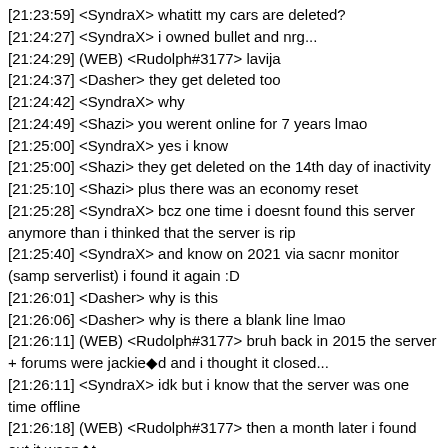[21:23:59] <SyndraX> whatitt my cars are deleted?
[21:24:27] <SyndraX> i owned bullet and nrg...
[21:24:29] (WEB) <Rudolph#3177> lavija
[21:24:37] <Dasher> they get deleted too
[21:24:42] <SyndraX> why
[21:24:49] <Shazi> you werent online for 7 years lmao
[21:25:00] <SyndraX> yes i know
[21:25:00] <Shazi> they get deleted on the 14th day of inactivity
[21:25:10] <Shazi> plus there was an economy reset
[21:25:28] <SyndraX> bcz one time i doesnt found this server anymore than i thinked that the server is rip
[21:25:40] <SyndraX> and know on 2021 via sacnr monitor (samp serverlist) i found it again :D
[21:26:01] <Dasher> why is this
[21:26:06] <Dasher> why is there a blank line lmao
[21:26:11] (WEB) <Rudolph#3177> bruh back in 2015 the server + forums were jackie�d and i thought it closed...
[21:26:11] <SyndraX> idk but i know that the server was one time offline
[21:26:18] (WEB) <Rudolph#3177> then a month later i found out it wasn�t
[21:26:41] <Shazi> there was a period when the server was off
[21:27:04] <SyndraX> i know the times where 80-100 players was here
[21:27:14] (WEB) <Rudolph#3177> throwback to 2015 when